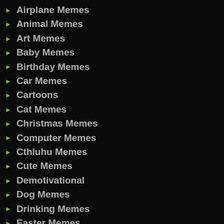Airplane Memes
Animal Memes
Art Memes
Baby Memes
Birthday Memes
Car Memes
Cartoons
Cat Memes
Christmas Memes
Computer Memes
Cthluhu Memes
Cute Memes
Demotivational
Dog Memes
Drinking Memes
Easter Memes
Facebook Memes
Failure Memes
Fall Memes
Fashion Memes
Fitness Memes